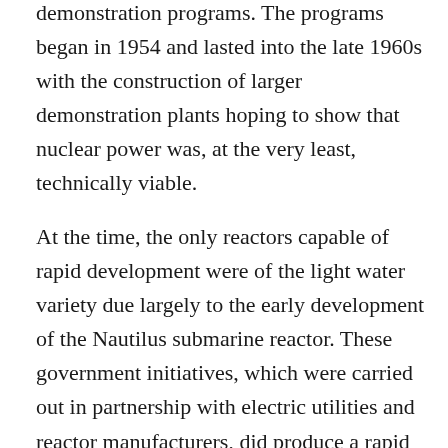demonstration programs. The programs began in 1954 and lasted into the late 1960s with the construction of larger demonstration plants hoping to show that nuclear power was, at the very least, technically viable.
At the time, the only reactors capable of rapid development were of the light water variety due largely to the early development of the Nautilus submarine reactor. These government initiatives, which were carried out in partnership with electric utilities and reactor manufacturers, did produce a rapid scale of the technology with more than a five-fold increase in reactor capacity in ten years.